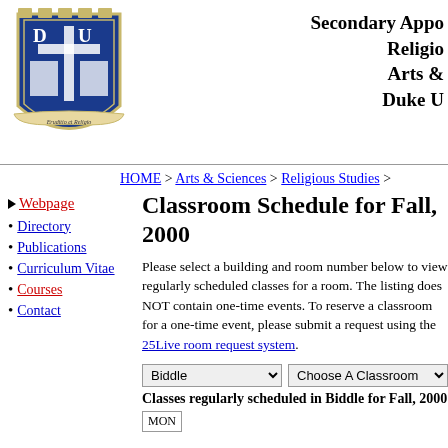[Figure (logo): Duke University shield logo with 'DU' letters, cross, and 'Eruditio et Religio' motto]
Secondary Appo
Religio
Arts &
Duke U
HOME > Arts & Sciences > Religious Studies >
Webpage
Directory
Publications
Curriculum Vitae
Courses
Contact
Classroom Schedule for Fall, 2000
Please select a building and room number below to view regularly scheduled classes for a room. The listing does NOT contain one-time events. To reserve a classroom for a one-time event, please submit a request using the 25Live room request system.
Classes regularly scheduled in Biddle for Fall, 2000
| MON |
| --- |